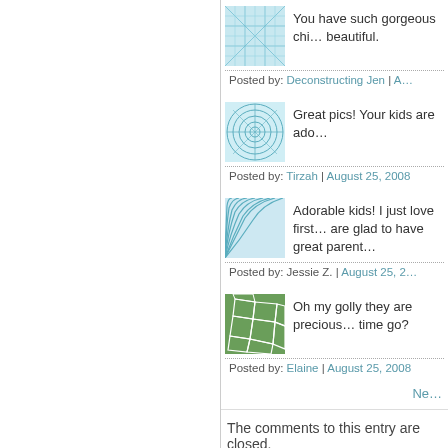You have such gorgeous chi… beautiful.
Posted by: Deconstructing Jen | A…
Great pics! Your kids are ado…
Posted by: Tirzah | August 25, 2008
Adorable kids! I just love first… are glad to have great parent…
Posted by: Jessie Z. | August 25, 2…
Oh my golly they are precious… time go?
Posted by: Elaine | August 25, 2008
Ne…
The comments to this entry are closed.